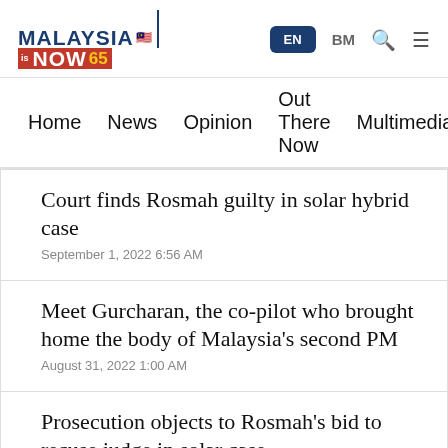MalaysiaNow 65 — EN BM
Home  News  Opinion  Out There Now  Multimedia
Court finds Rosmah guilty in solar hybrid case
September 1, 2022 6:56 AM
Meet Gurcharan, the co-pilot who brought home the body of Malaysia's second PM
August 31, 2022 1:00 AM
Prosecution objects to Rosmah's bid to recuse judge in solar case
September 1, 2022 2:33 AM